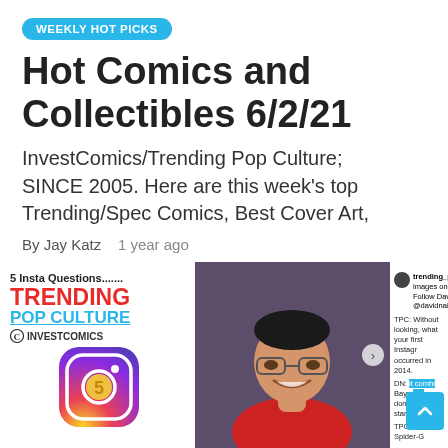WEEKLY HOT PICKS
Hot Comics and Collectibles 6/2/21
InvestComics/Trending Pop Culture; SINCE 2005. Here are this week’s top Trending/Spec Comics, Best Cover Art,
By Jay Katz   1 year ago
[Figure (photo): 5 Insta Questions layout with Trending Pop Culture logo, InvestComics logo, and Instagram icon with number 5. Center photo of a smiling man in a red shirt. Right side shows trending_pop_culture Instagram account text and conversation snippets.]